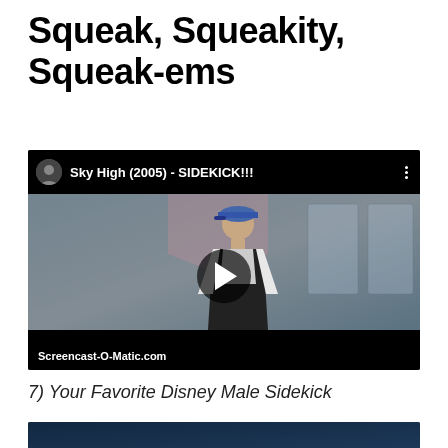Squeak, Squeakity, Squeak-ems
[Figure (screenshot): Embedded video screenshot from Screencast-O-Matic.com showing Sky High (2005) - SIDEKICK!!! with a play button overlay. A figure in a letterman jacket stands in an interior scene. Video header shows channel avatar and title. Footer shows Screencast-O-Matic.com branding.]
7) Your Favorite Disney Male Sidekick
[Figure (screenshot): Partial screenshot at bottom of page showing a dark blue background, beginning of another embedded video.]